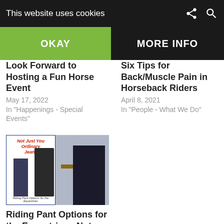This website uses cookies
OKAY
MORE INFO
Six Tips for Back/Muscle Pain in Horseback Riders
April 8, 2021
In "People - What We Do"
Look Forward to Hosting a Fun Horse Event
May 17, 2022
In "Happenings - Special Events"
[Figure (photo): Collage image showing jeans and equestrian riders with text 'Not Just Your Ordinary Jeans - Riding Pant Options for the Equestrian']
Riding Pant Options for the Equestrian : Not Just Your Ordinary Jeans
February 24, 2022
In "People - What We Wear"